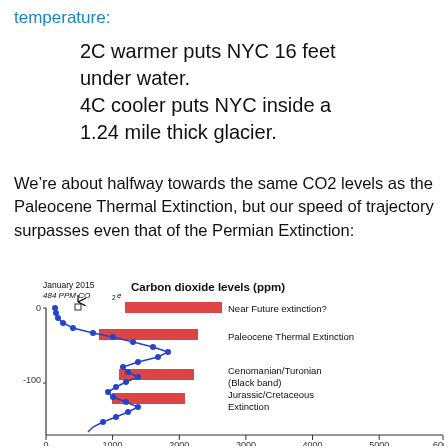temperature:
2C warmer puts NYC 16 feet under water.
4C cooler puts NYC inside a 1.24 mile thick glacier.
We’re about halfway towards the same CO2 levels as the Paleocene Thermal Extinction, but our speed of trajectory surpasses even that of the Permian Extinction:
[Figure (continuous-plot): Chart showing Carbon dioxide levels (ppm) on x-axis (0 to 6000) and time (millions of years) on y-axis (0 to -100+). A blue line with dots traces CO2 through geological time. Red horizontal bars indicate: Near Future extinction? (around 1200-2300 ppm at 0), Paleocene Thermal Extinction (around 800-2300 ppm at ~-40M years), Cenomanian/Turonian Black band (around 1100-2200 ppm at ~-100M years), Jurassic/Cretaceous Extinction (around 1000-2100 ppm at ~-130M years). January 2015 484 PPM CO2e is marked with a downward arrow at top near 0 on x-axis.]